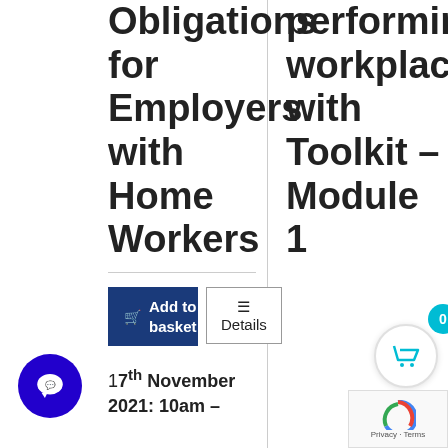Obligations for Employers with Home Workers
performing workplace with Toolkit – Module 1
Add to basket
Details
17th November 2021: 10am –